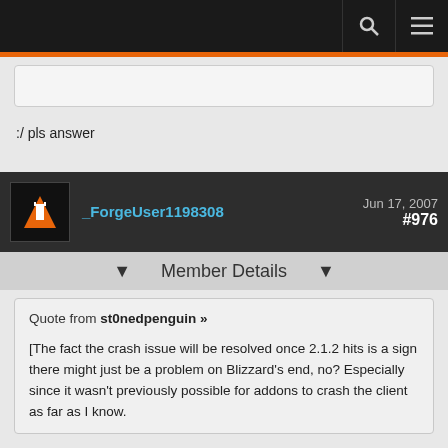Navigation bar with search and menu icons
:/ pls answer
_ForgeUser1198308   Jun 17, 2007   #976
Member Details
Quote from st0nedpenguin »

[The fact the crash issue will be resolved once 2.1.2 hits is a sign there might just be a problem on Blizzard's end, no? Especially since it wasn't previously possible for addons to crash the client as far as I know.